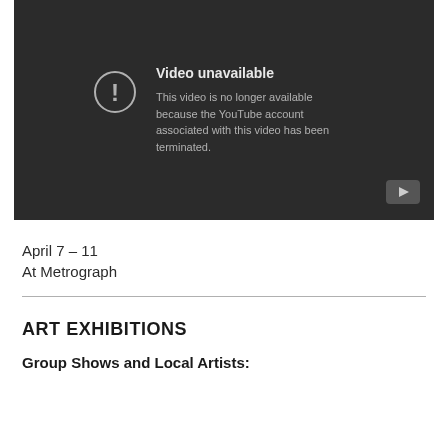[Figure (screenshot): YouTube video unavailable error screen with dark background, exclamation icon, 'Video unavailable' title, message 'This video is no longer available because the YouTube account associated with this video has been terminated.', and YouTube play button logo in bottom right corner.]
April 7 – 11
At Metrograph
ART EXHIBITIONS
Group Shows and Local Artists: